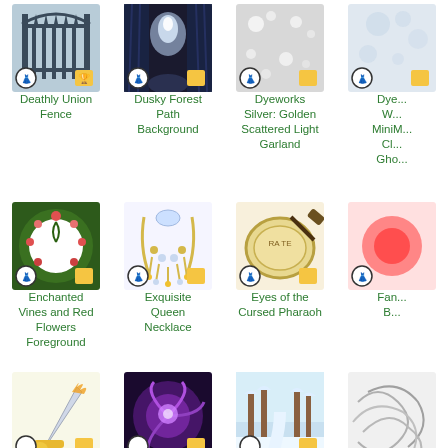[Figure (illustration): Grid of game inventory items with names. Row 1: Deathly Union Fence (iron gate), Dusky Forest Path Background (dark forest), Dyeworks Silver: Golden Scattered Light Garland (grey box), Dye... (partially cut off). Row 2: Enchanted Vines and Red Flowers Foreground (circular floral wreath), Exquisite Queen Necklace (ornate necklace), Eyes of the Cursed Pharaoh (tambourine-like item), Fan... B... (cut off). Row 3: (sword/blade item), (purple swirl creature), (snowy forest path), (grey tangle, cut off).]
Deathly Union Fence
Dusky Forest Path Background
Dyeworks Silver: Golden Scattered Light Garland
Enchanted Vines and Red Flowers Foreground
Exquisite Queen Necklace
Eyes of the Cursed Pharaoh